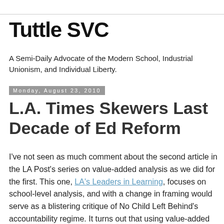Tuttle SVC
A Semi-Daily Advocate of the Modern School, Industrial Unionism, and Individual Liberty.
Monday, August 23, 2010
L.A. Times Skewers Last Decade of Ed Reform
I've not seen as much comment about the second article in the LA Post's series on value-added analysis as we did for the first. This one, LA's Leaders in Learning, focuses on school-level analysis, and with a change in framing would serve as a blistering critique of No Child Left Behind's accountability regime. It turns out that using value-added analysis, one finds that many low poverty schools with low absolute scores identified as failing under NCLB are actually achieving greater growth, more learning, than many other schools with more affluent student bodies and higher scores